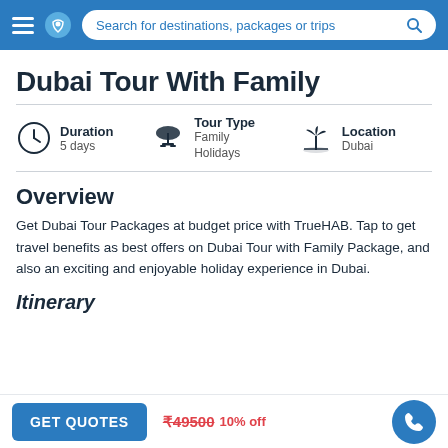Search for destinations, packages or trips
Dubai Tour With Family
Duration: 5 days | Tour Type: Family Holidays | Location: Dubai
Overview
Get Dubai Tour Packages at budget price with TrueHAB. Tap to get travel benefits as best offers on Dubai Tour with Family Package, and also an exciting and enjoyable holiday experience in Dubai.
Itinerary
GET QUOTES | ₹49500 10% off